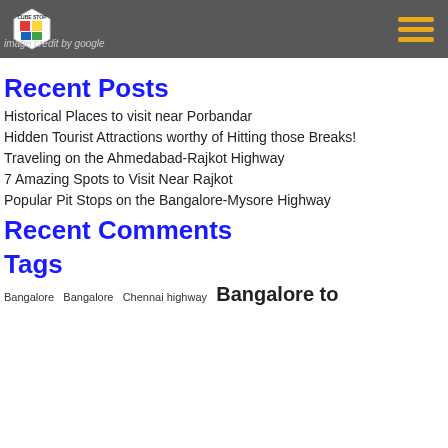Cube Stop logo and navigation header
image credit by google
Recent Posts
Historical Places to visit near Porbandar
Hidden Tourist Attractions worthy of Hitting those Breaks!
Traveling on the Ahmedabad-Rajkot Highway
7 Amazing Spots to Visit Near Rajkot
Popular Pit Stops on the Bangalore-Mysore Highway
Recent Comments
Tags
Bangalore  Bangalore  Chennai highway  Bangalore to